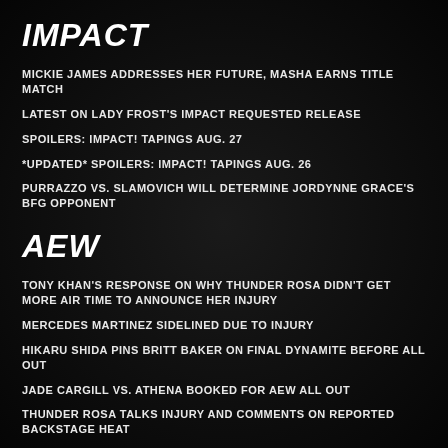IMPACT
MICKIE JAMES ADDRESSES HER FUTURE, MASHA EARNS TITLE MATCH
LATEST ON LADY FROST'S IMPACT REQUESTED RELEASE
SPOILERS: IMPACT! TAPINGS AUG. 27
*UPDATED* SPOILERS: IMPACT! TAPINGS AUG. 26
PURRAZZO VS. SLAMOVICH WILL DETERMINE JORDYNNE GRACE'S BFG OPPONENT
AEW
TONY KHAN'S RESPONSE ON WHY THUNDER ROSA DIDN'T GET MORE AIR TIME TO ANNOUNCE HER INJURY
MERCEDES MARTINEZ SIDELINED DUE TO INJURY
HIKARU SHIDA PINS BRITT BAKER ON FINAL DYNAMITE BEFORE ALL OUT
JADE CARGILL VS. ATHENA BOOKED FOR AEW ALL OUT
THUNDER ROSA TALKS INJURY AND COMMENTS ON REPORTED BACKSTAGE HEAT